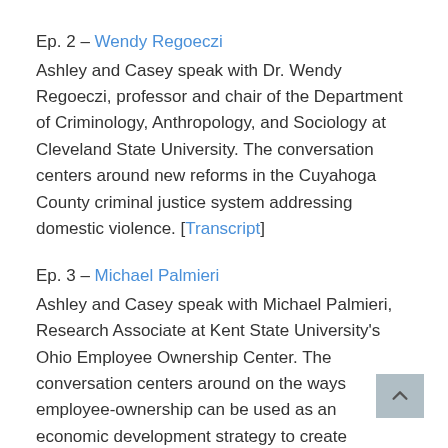Ep. 2 – Wendy Regoeczi
Ashley and Casey speak with Dr. Wendy Regoeczi, professor and chair of the Department of Criminology, Anthropology, and Sociology at Cleveland State University. The conversation centers around new reforms in the Cuyahoga County criminal justice system addressing domestic violence. [Transcript]
Ep. 3 – Michael Palmieri
Ashley and Casey speak with Michael Palmieri, Research Associate at Kent State University's Ohio Employee Ownership Center. The conversation centers around on the ways employee-ownership can be used as an economic development strategy to create